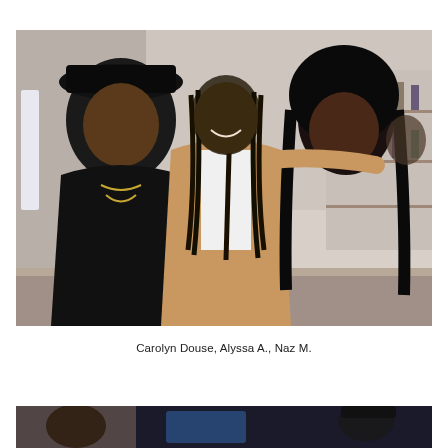[Figure (photo): Three people posing together at a bar/lounge. On the left, a heavyset person in a black leather jacket, black shirt, gold chains, and a wide-brim black hat. In the center, a person with long dreadlocks wearing a tan/camel blazer over a white shirt. On the right, a woman with long curly black hair wearing a black top. Drinks on the bar counter in front of them including a wine glass and cocktails. Bar shelves with bottles visible in the background.]
Carolyn Douse, Alyssa A., Naz M.
[Figure (photo): Partial view of another photo showing people at what appears to be a similar event, partially cropped at the bottom of the page.]